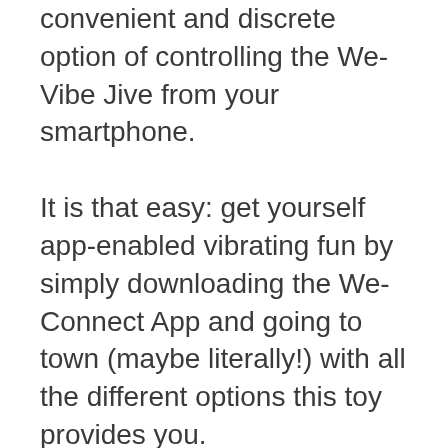convenient and discrete option of controlling the We-Vibe Jive from your smartphone.
It is that easy: get yourself app-enabled vibrating fun by simply downloading the We-Connect App and going to town (maybe literally!) with all the different options this toy provides you.
Long distance relationship? No problem- just let your partner connect to this toy using their We-Connect App and discover mind-blowing intimacy from afar.
Bored at home and want to spice up your solo play? Use the We-Connect App on your own to design your own vibration patterns that are